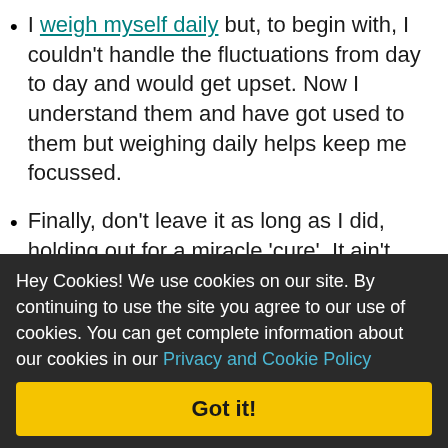I weigh myself daily but, to begin with, I couldn't handle the fluctuations from day to day and would get upset. Now I understand them and have got used to them but weighing daily helps keep me focussed.
Finally, don't leave it as long as I did, holding out for a miracle 'cure'. It ain't gonna happen. Use WLR to really understand what and why you are eating and start making some small changes - they will add up to stones lost!
Hey Cookies! We use cookies on our site. By continuing to use the site you agree to our use of cookies. You can get complete information about our cookies in our Privacy and Cookie Policy
Got it!